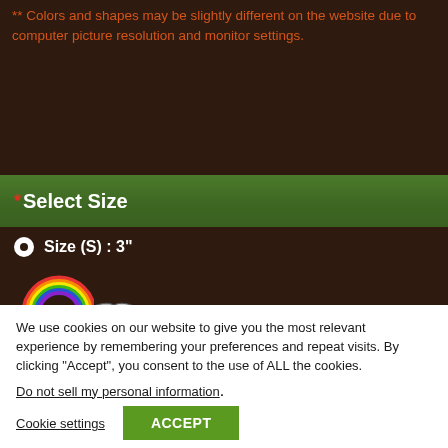** Colors and shapes may be slightly different on the website due to computer picture resolution and monitor settings.
*Select Size
Size (S) : 3"
[Figure (photo): A decorative metal flower/plumeria trinket with intricate black and white swirl patterns, shown with a small rainbow and flower icon above it]
We use cookies on our website to give you the most relevant experience by remembering your preferences and repeat visits. By clicking “Accept”, you consent to the use of ALL the cookies.
Do not sell my personal information.
Cookie settings
ACCEPT